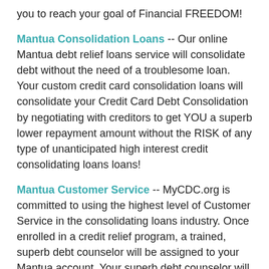you to reach your goal of Financial FREEDOM!
Mantua Consolidation Loans -- Our online Mantua debt relief loans service will consolidate debt without the need of a troublesome loan. Your custom credit card consolidation loans will consolidate your Credit Card Debt Consolidation by negotiating with creditors to get YOU a superb lower repayment amount without the RISK of any type of unanticipated high interest credit consolidating loans loans!
Mantua Customer Service -- MyCDC.org is committed to using the highest level of Customer Service in the consolidating loans industry. Once enrolled in a credit relief program, a trained, superb debt counselor will be assigned to your Mantua account. Your superb debt counselor will review your troublesome Credit Card Debt Consolidation and financial situation and develop a fundamental solution based on YOUR personal Credit Card Debt Consolidation situation and needs.
FREE Mantua Help Available -- A certified, professional superb counselor will contact you for an absolutely free, no cost credit card debts consultation. Please use the form above to provide your